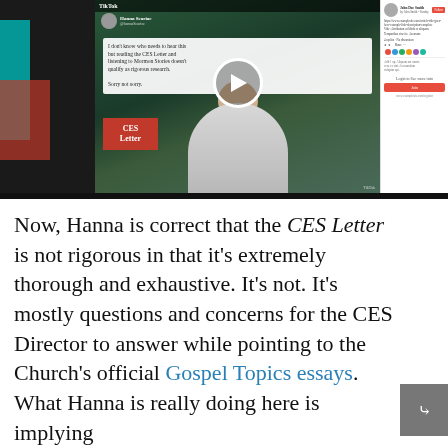[Figure (screenshot): Screenshot of a TikTok video post by Hanna Seariac showing a man in a white shirt outdoors, with a red 'CES Letter' overlay and a play button. Caption reads: 'I don't know who needs to hear this but reading the CES Letter and listening to Mormon Stories doesn't qualify as rigorous research. Sorry not sorry.' Right side shows a partially visible web page.]
Now, Hanna is correct that the CES Letter is not rigorous in that it's extremely thorough and exhaustive. It's not. It's mostly questions and concerns for the CES Director to answer while pointing to the Church's official Gospel Topics essays. What Hanna is really doing here is implying